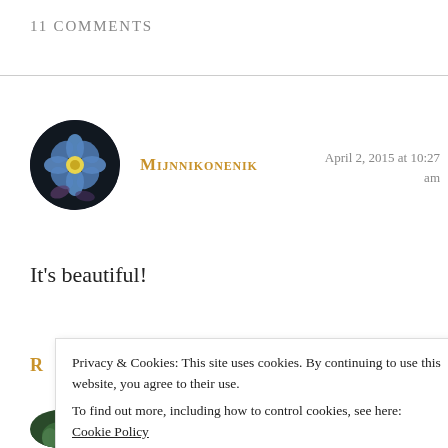11 Comments
[Figure (photo): Circular avatar showing blue forget-me-not flowers on dark background]
Mijnnikonenik
April 2, 2015 at 10:27 am
It's beautiful!
R
Privacy & Cookies: This site uses cookies. By continuing to use this website, you agree to their use.
To find out more, including how to control cookies, see here: Cookie Policy
Close and accept
[Figure (photo): Circular avatar partially visible at bottom of page, showing green foliage]